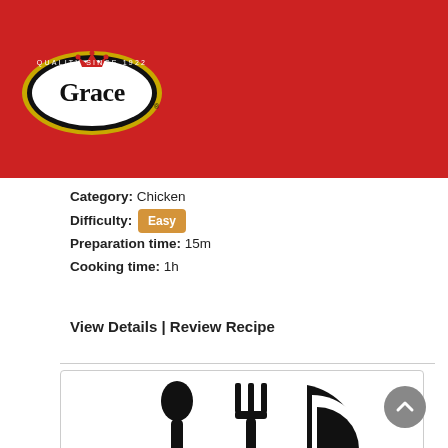[Figure (logo): Grace Foods logo — white oval with black border and gold ring, red crown above 'Grace' in bold black script, 'Quality Since 1922' text around the oval, on a red background]
Category: Chicken
Difficulty: Easy
Preparation time: 15m
Cooking time: 1h
View Details | Review Recipe
[Figure (illustration): Black silhouette illustration of a spoon, fork, and plate (dining utensils) on a white background inside a rounded rectangle border]